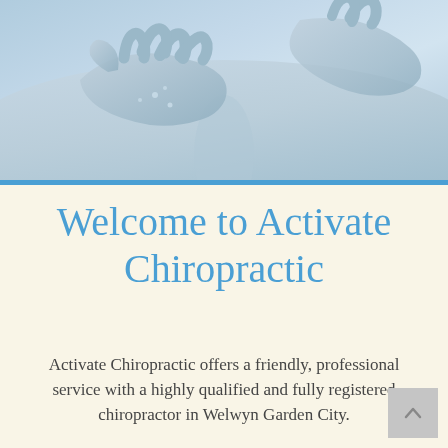[Figure (photo): Close-up photo of hands performing chiropractic or massage treatment on a person's back, with a blue-tinted light aesthetic.]
Welcome to Activate Chiropractic
Activate Chiropractic offers a friendly, professional service with a highly qualified and fully registered chiropractor in Welwyn Garden City.